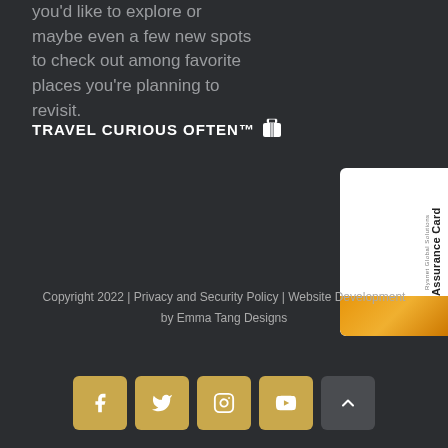you'd like to explore or maybe even a few new spots to check out among favorite places you're planning to revisit.
TRAVEL CURIOUS OFTEN™
[Figure (photo): Partial view of a Rysnet Global Solutions Assurance Card with orange/gold bottom graphic element]
Copyright 2022 | Privacy and Security Policy | Website Development by Emma Tang Designs
[Figure (infographic): Social media icons row: Facebook, Twitter, Instagram, YouTube (gold background), and a scroll-to-top arrow button (dark background)]